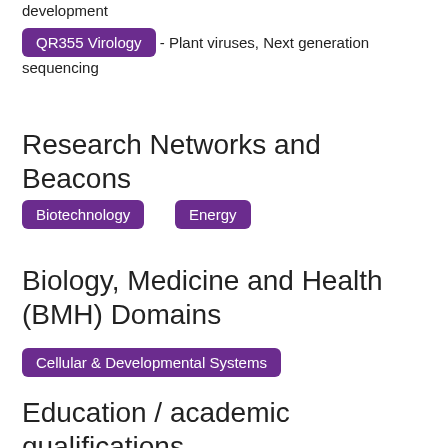development
QR355 Virology - Plant viruses, Next generation sequencing
Research Networks and Beacons
Biotechnology
Energy
Biology, Medicine and Health (BMH) Domains
Cellular & Developmental Systems
Education / academic qualifications